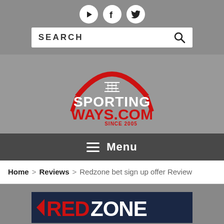[Figure (logo): Social media icons: YouTube, Facebook, Twitter in white circles on gray background]
[Figure (other): Search bar with SEARCH text and magnifying glass icon]
[Figure (logo): SportingWays.com logo with football graphic and SINCE 2005 tagline in red and white on gray background]
Menu
Home > Reviews > Redzone bet sign up offer Review
[Figure (logo): Redzone bet logo on dark navy background, partially visible]